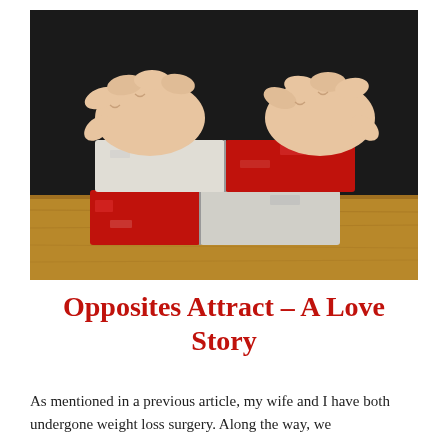[Figure (photo): Two hands holding two bar magnets together against a dark background with a wooden surface below. The magnets are red and white/grey rectangular blocks.]
Opposites Attract – A Love Story
As mentioned in a previous article, my wife and I have both undergone weight loss surgery. Along the way, we